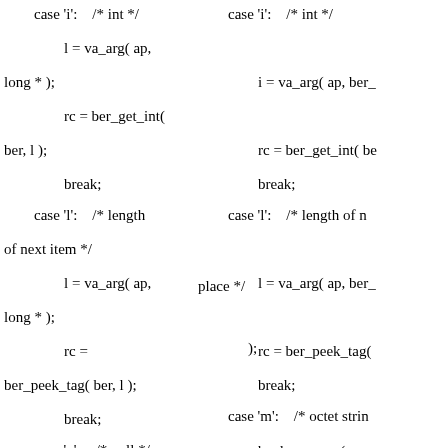case 'i':    /* int */
        l = va_arg( ap, long * );
        rc = ber_get_int( ber, l );
        break;
case 'i':    /* int */
    i = va_arg( ap, ber_
    rc = ber_get_int( be
    break;
case 'l':    /* length of next item */
        l = va_arg( ap, long * );
        rc =
ber_peek_tag( ber, l );
        break;
case 'l':    /* length of n
    l = va_arg( ap, ber_
    rc = ber_peek_tag(
    break;
case 'n':    /* null */
        rc =
ber_get_null( ber );

        break;
place */
);
case 'm':    /* octet strin
    bval = va_arg( ap, s
    rc = ber_get_stringb
    break;
case 's':    /* octet string - in a buffer */
case 'M':    /* bvoffarra
include address of